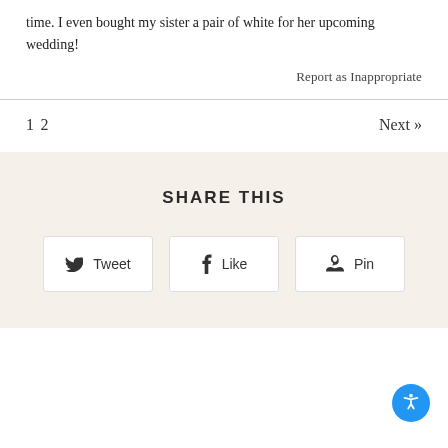time. I even bought my sister a pair of white for her upcoming wedding!
Report as Inappropriate
1 2   Next »
SHARE THIS
Tweet
Like
Pin